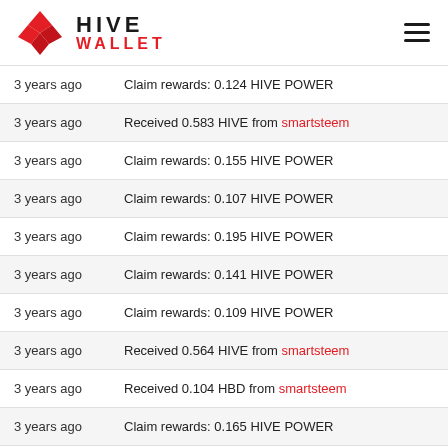HIVE WALLET
3 years ago — Claim rewards: 0.124 HIVE POWER
3 years ago — Received 0.583 HIVE from smartsteem
3 years ago — Claim rewards: 0.155 HIVE POWER
3 years ago — Claim rewards: 0.107 HIVE POWER
3 years ago — Claim rewards: 0.195 HIVE POWER
3 years ago — Claim rewards: 0.141 HIVE POWER
3 years ago — Claim rewards: 0.109 HIVE POWER
3 years ago — Received 0.564 HIVE from smartsteem
3 years ago — Received 0.104 HBD from smartsteem
3 years ago — Claim rewards: 0.165 HIVE POWER